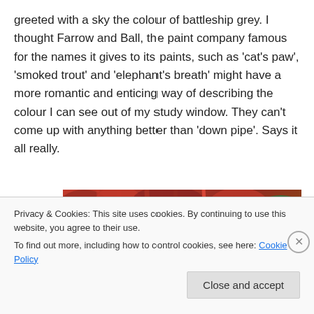greeted with a sky the colour of battleship grey. I thought Farrow and Ball, the paint company famous for the names it gives to its paints, such as 'cat's paw', 'smoked trout' and 'elephant's breath' might have a more romantic and enticing way of describing the colour I can see out of my study window. They can't come up with anything better than 'down pipe'. Says it all really.
[Figure (photo): Close-up photo of red/pink plant stems and foliage with a person's hands visible, outdoor garden setting]
Privacy & Cookies: This site uses cookies. By continuing to use this website, you agree to their use.
To find out more, including how to control cookies, see here: Cookie Policy